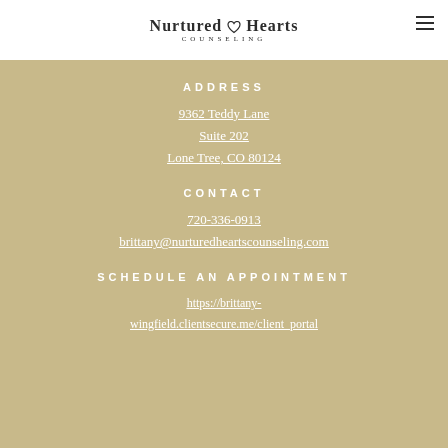Nurtured Hearts Counseling
ADDRESS
9362 Teddy Lane
Suite 202
Lone Tree, CO 80124
CONTACT
720-336-0913
brittany@nurturedheartscounseling.com
SCHEDULE AN APPOINTMENT
https://brittany-wingfield.clientsecure.me/client_portal